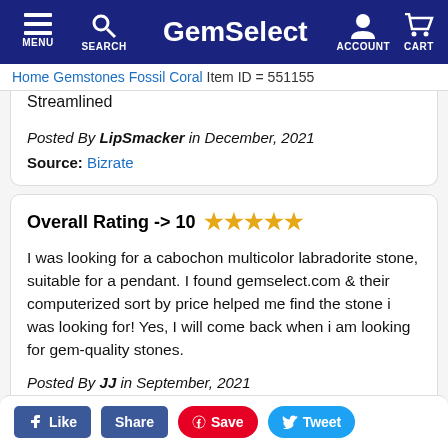GemSelect — MENU SEARCH ACCOUNT CART
Home > Gemstones > Fossil Coral   Item ID = 551155
Streamlined

Posted By LipSmacker in December, 2021

Source: Bizrate
Overall Rating -> 10 ★★★★★
I was looking for a cabochon multicolor labradorite stone, suitable for a pendant. I found gemselect.com & their computerized sort by price helped me find the stone i was looking for! Yes, I will come back when i am looking for gem-quality stones.
Posted By JJ in September, 2021